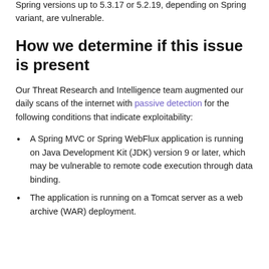permissions, and then launch additional attacks in the breached network.
Spring versions up to 5.3.17 or 5.2.19, depending on Spring variant, are vulnerable.
How we determine if this issue is present
Our Threat Research and Intelligence team augmented our daily scans of the internet with passive detection for the following conditions that indicate exploitability:
A Spring MVC or Spring WebFlux application is running on Java Development Kit (JDK) version 9 or later, which may be vulnerable to remote code execution through data binding.
The application is running on a Tomcat server as a web archive (WAR) deployment.